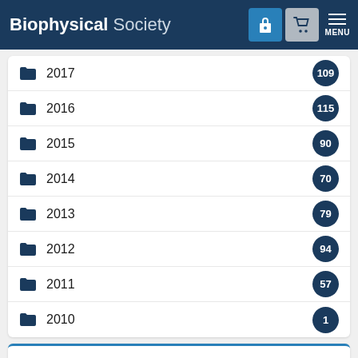Biophysical Society — MENU
2017 — 109
2016 — 115
2015 — 90
2014 — 70
2013 — 79
2012 — 94
2011 — 57
2010 — 1
Popular Tags
biophysics 117    BJ cover art 54